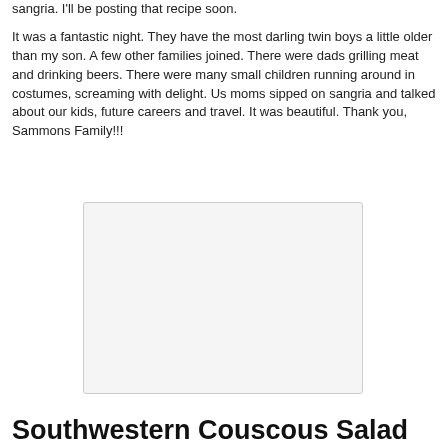sangria. I'll be posting that recipe soon.
It was a fantastic night. They have the most darling twin boys a little older than my son. A few other families joined. There were dads grilling meat and drinking beers. There were many small children running around in costumes, screaming with delight. Us moms sipped on sangria and talked about our kids, future careers and travel. It was beautiful. Thank you, Sammons Family!!!
[Figure (photo): A placeholder image area with light gray background and rounded border]
Southwestern Couscous Salad